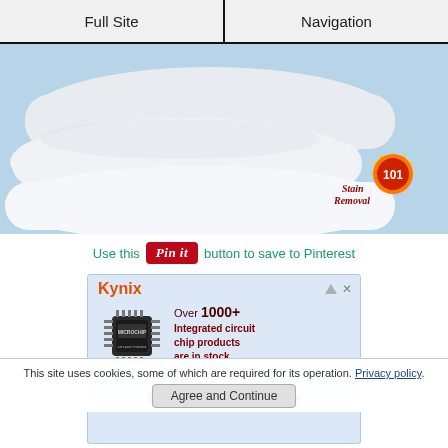Full Site | Navigation
[Figure (photo): Stack of white pillows on a light blue background with a 'Stain Removal 101' logo badge in the bottom right corner]
Use this Pin it button to save to Pinterest
[Figure (screenshot): Kynix advertisement showing a microchip with text: Over 1000+ Integrated circuit chip products are in stock and available now. Kynix Official Site]
This site uses cookies, some of which are required for its operation. Privacy policy
Agree and Continue